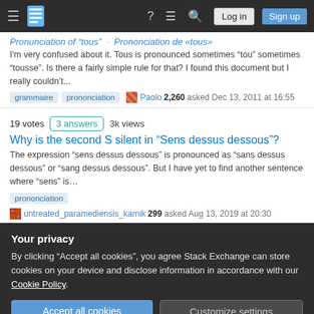Stack Exchange navigation bar with Log in and Sign up buttons
Pronunciation of "tous" · Prononciation de «tous»
I'm very confused about it. Tous is pronounced sometimes "tou" sometimes "tousse". Is there a fairly simple rule for that? I found this document but I really couldn't...
grammaire prononciation · Paolo 2,260 asked Dec 13, 2011 at 16:55
19 votes · 3 answers · 3k views
Why is the second S silent in "Sens dessus dessous"?
The expression "sens dessus dessous" is pronounced as "sans dessus dessous" or "sang dessus dessous". But I have yet to find another sentence where "sens" is...
prononciation
untreated_paramediensis_karnik 299 asked Aug 13, 2019 at 20:30
Your privacy
By clicking "Accept all cookies", you agree Stack Exchange can store cookies on your device and disclose information in accordance with our Cookie Policy.
Accept all cookies  Customize settings
temporary_user_name 18.3k asked Apr 26, 2013 at 17:50